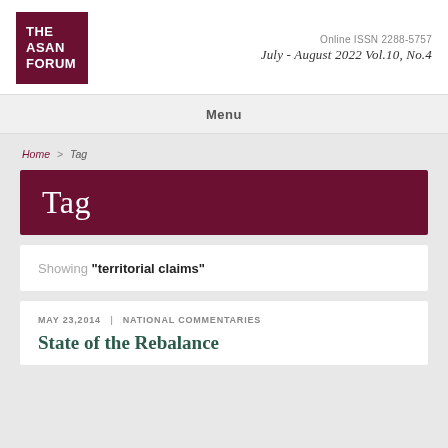[Figure (logo): The Asan Forum logo — dark red square with white text THE ASAN FORUM]
Online ISSN 2288-5757
July - August 2022 Vol.10, No.4
Menu
Home > Tag
Tag
Showing "territorial claims"
May 23,2014 | National Commentaries
State of the Rebalance